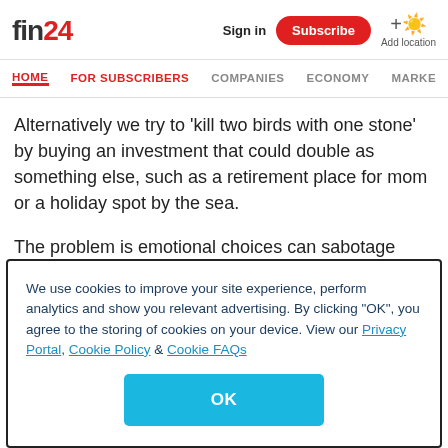fin24 | Sign in | Subscribe | Add location
HOME | FOR SUBSCRIBERS | COMPANIES | ECONOMY | MARKE
Alternatively we try to ‘kill two birds with one stone’ by buying an investment that could double as something else, such as a retirement place for mom or a holiday spot by the sea.
The problem is emotional choices can sabotage your chances of success.
We use cookies to improve your site experience, perform analytics and show you relevant advertising. By clicking "OK", you agree to the storing of cookies on your device. View our Privacy Portal, Cookie Policy & Cookie FAQs